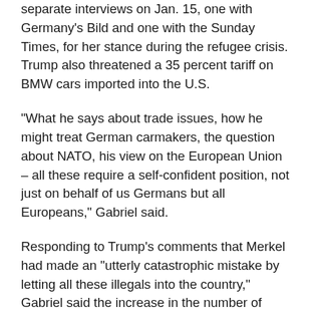separate interviews on Jan. 15, one with Germany's Bild and one with the Sunday Times, for her stance during the refugee crisis. Trump also threatened a 35 percent tariff on BMW cars imported into the U.S.
“What he says about trade issues, how he might treat German carmakers, the question about NATO, his view on the European Union – all these require a self-confident position, not just on behalf of us Germans but all Europeans,” Gabriel said.
Responding to Trump’s comments that Merkel had made an “utterly catastrophic mistake by letting all these illegals into the country,” Gabriel said the increase in the number of people fleeing the Middle East to seek asylum in Europe had partially been a result of U.S.-led wars that destabilized the region.
Gabriel slammed the Obama administration – as well as Merkel’s close friend Hillary Clinton – as being the